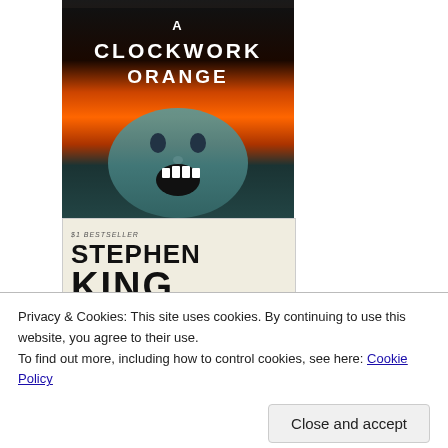[Figure (photo): Book cover: A Clockwork Orange — dark background with orange flames and text 'CLOCKWORK ORANGE', plus a screaming mouth image]
[Figure (photo): Book cover: The Running Man by Stephen King (writing as Richard Bachman) — #1 Bestseller label, large STEPHEN KING text, black and white photo of running figure, title 'The Running Man' at bottom]
[Figure (photo): Book cover: Edgar Rice Burroughs — colorful red/orange/yellow cover with large stylized 'BURROUGHS' text and subtitle 'A Princess of Mars']
Privacy & Cookies: This site uses cookies. By continuing to use this website, you agree to their use.
To find out more, including how to control cookies, see here: Cookie Policy
Close and accept
[Figure (photo): Book cover: Starship Troopers — partial view at bottom, red and dark blue cover with yellow stylized text]